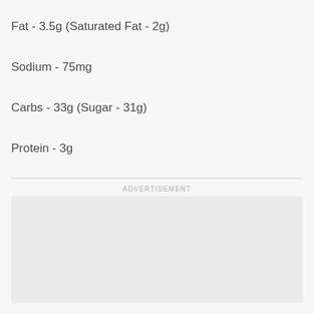Fat - 3.5g (Saturated Fat - 2g)
Sodium - 75mg
Carbs - 33g (Sugar - 31g)
Protein - 3g
ADVERTISEMENT